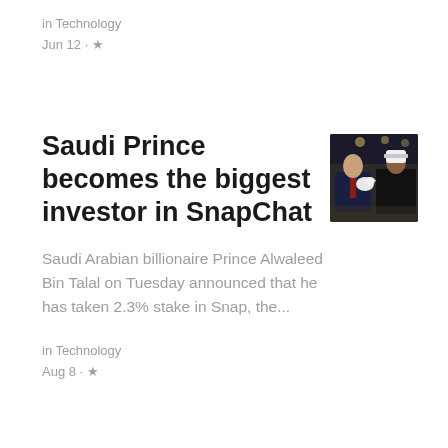in Technology
Jun 12 · ★
Saudi Prince becomes the biggest investor in SnapChat
[Figure (photo): Two men in suits sitting together, one holding a white bird, in a formal indoor setting]
Saudi Arabian billionaire Prince Alwaleed Bin Talal on Tuesday announced that he has taken 2.3% stake in Snap, the...
in Technology
Aug 8 · ★